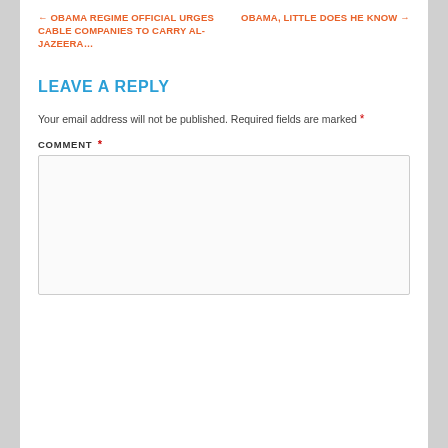← OBAMA REGIME OFFICIAL URGES CABLE COMPANIES TO CARRY AL-JAZEERA…
OBAMA, LITTLE DOES HE KNOW →
LEAVE A REPLY
Your email address will not be published. Required fields are marked *
COMMENT *